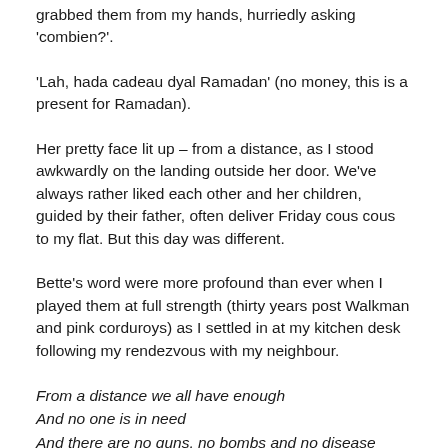grabbed them from my hands, hurriedly asking 'combien?'.
'Lah, hada cadeau dyal Ramadan' (no money, this is a present for Ramadan).
Her pretty face lit up – from a distance, as I stood awkwardly on the landing outside her door. We've always rather liked each other and her children, guided by their father, often deliver Friday cous cous to my flat. But this day was different.
Bette's word were more profound than ever when I played them at full strength (thirty years post Walkman and pink corduroys) as I settled in at my kitchen desk following my rendezvous with my neighbour.
From a distance we all have enough
And no one is in need
And there are no guns, no bombs and no disease
No hungry mouths to feed...